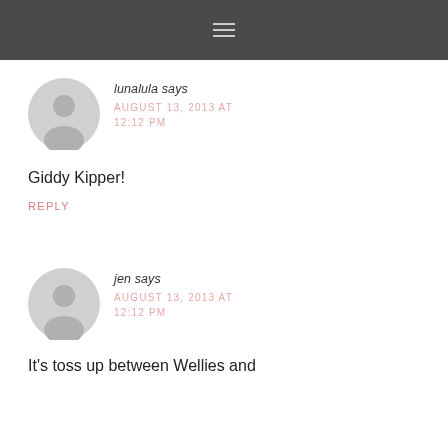≡
lunalula says
AUGUST 13, 2013 AT 12:12 PM
Giddy Kipper!
Reply
jen says
AUGUST 13, 2013 AT 12:12 PM
It's toss up between Wellies and